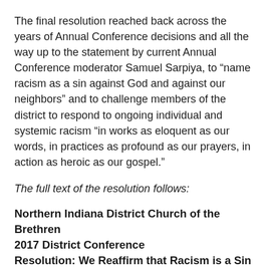The final resolution reached back across the years of Annual Conference decisions and all the way up to the statement by current Annual Conference moderator Samuel Sarpiya, to “name racism as a sin against God and against our neighbors” and to challenge members of the district to respond to ongoing individual and systemic racism “in works as eloquent as our words, in practices as profound as our prayers, in action as heroic as our gospel.”
The full text of the resolution follows:
Northern Indiana District Church of the Brethren 2017 District Conference Resolution: We Reaffirm that Racism is a Sin Against God and Our Neighbors
We, the delegates of the 2017 Northern Indiana District Conference, reaffirm Annual Conference reports and